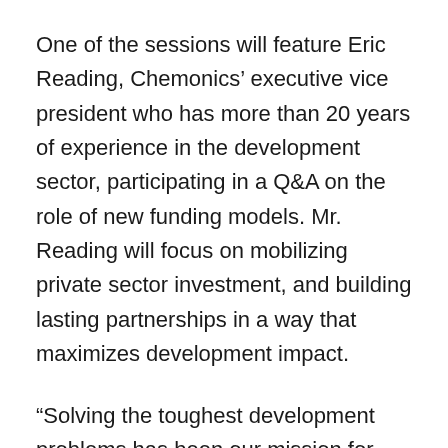One of the sessions will feature Eric Reading, Chemonics' executive vice president who has more than 20 years of experience in the development sector, participating in a Q&A on the role of new funding models. Mr. Reading will focus on mobilizing private sector investment, and building lasting partnerships in a way that maximizes development impact.
“Solving the toughest development problems has been our mission for over forty years, and it’s clear that we’re at a very pivotal time for the broader industry,” said Mr. Reading. “It’s important that the development community, along with the private